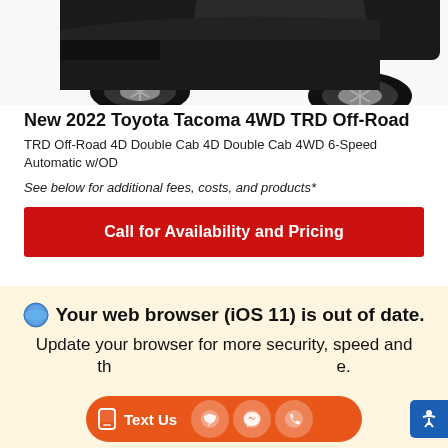[Figure (photo): Partial view of a black Toyota Tacoma 4WD TRD Off-Road truck, showing the front wheels/tires and lower body against a white background.]
New 2022 Toyota Tacoma 4WD TRD Off-Road
TRD Off-Road 4D Double Cab 4D Double Cab 4WD 6-Speed Automatic w/OD
See below for additional fees, costs, and products*
Call for Availability and Pricing
*First Name  *Last Name
*Email
*Phone
Your web browser (iOS 11) is out of date. Update your browser for more security, speed and the best experience on this site.
Text Us